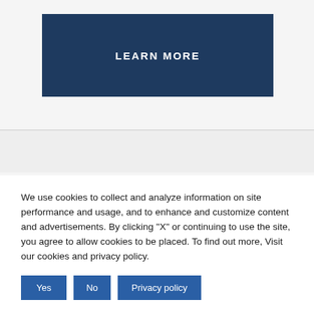[Figure (other): Dark navy blue 'LEARN MORE' button with white bold uppercase text]
We use cookies to collect and analyze information on site performance and usage, and to enhance and customize content and advertisements. By clicking "X" or continuing to use the site, you agree to allow cookies to be placed. To find out more, Visit our cookies and privacy policy.
Yes
No
Privacy policy